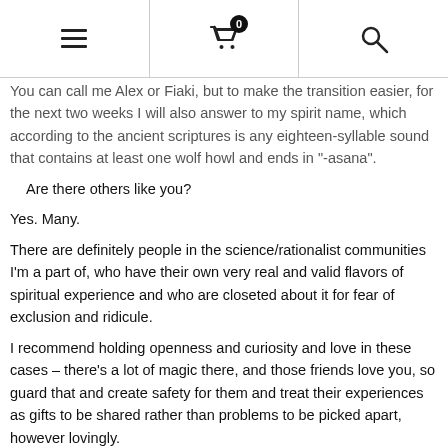[hamburger menu] [shopping cart with badge 0] [search icon]
You can call me Alex or Fiaki, but to make the transition easier, for the next two weeks I will also answer to my spirit name, which according to the ancient scriptures is any eighteen-syllable sound that contains at least one wolf howl and ends in "-asana".
Are there others like you?
Yes. Many.
There are definitely people in the science/rationalist communities I'm a part of, who have their own very real and valid flavors of spiritual experience and who are closeted about it for fear of exclusion and ridicule.
I recommend holding openness and curiosity and love in these cases – there's a lot of magic there, and those friends love you, so guard that and create safety for them and treat their experiences as gifts to be shared rather than problems to be picked apart, however lovingly.